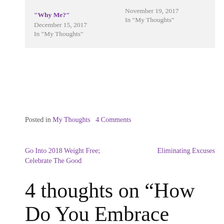"Why Me?"
December 15, 2017
In "My Thoughts"
Hopeless?
November 19, 2017
In "My Thoughts"
Posted in My Thoughts   4 Comments
Go Into 2018 Weight Free; Celebrate The Good
Eliminating Excuses
4 thoughts on “How Do You Embrace Change?”